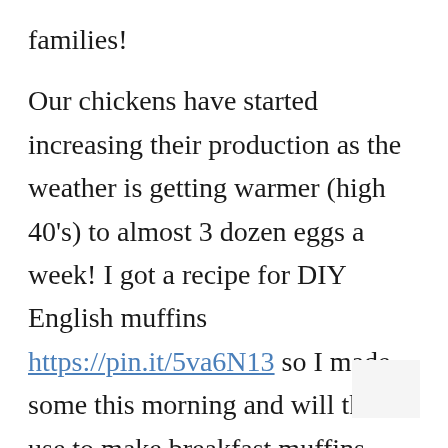families!
Our chickens have started increasing their production as the weather is getting warmer (high 40's) to almost 3 dozen eggs a week! I got a recipe for DIY English muffins https://pin.it/5va6N13 so I made some this morning and will then use to make breakfast muffins with bacon (that I got on sale 2 weeks ago), eggs (from our chickens) and sliced American cheese I have in the fridge! So it looks like I'll be